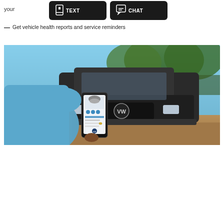[Figure (screenshot): Two black buttons with icons labeled TEXT and CHAT on a white background, partially visible, with text 'your' on the left]
— Get vehicle health reports and service reminders
Learn more about Car-Net®
[Figure (photo): A person in a light blue shirt holding a smartphone showing the VW Car-Net app, with a dark gray Volkswagen SUV in the background in an outdoor dirt/forest setting]